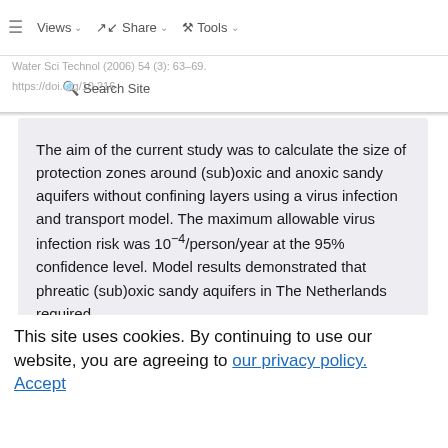Views  Share  Tools
Water Sci Technol (2006) 54 (3): 63–69. https://doi.org/10.216…  Search Site
The aim of the current study was to calculate the size of protection zones around (sub)oxic and anoxic sandy aquifers without confining layers using a virus infection and transport model. The maximum allowable virus infection risk was 10−4/person/year at the 95% confidence level. Model results demonstrated that phreatic (sub)oxic sandy aquifers in The Netherlands required extrapolation areas with a residence time of 13–117 d to ensure that the maximum virus infection risk would not be exceeded. This was 0.7–2× the current guideline of 60 d. In contrast, phreatic
This site uses cookies. By continuing to use our website, you are agreeing to our privacy policy. Accept